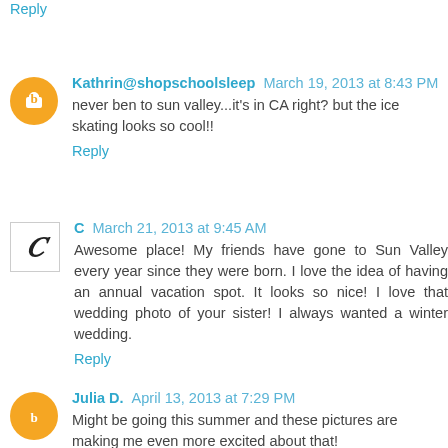Reply
Kathrin@shopschoolsleep March 19, 2013 at 8:43 PM
never ben to sun valley...it's in CA right? but the ice skating looks so cool!!
Reply
C March 21, 2013 at 9:45 AM
Awesome place! My friends have gone to Sun Valley every year since they were born. I love the idea of having an annual vacation spot. It looks so nice! I love that wedding photo of your sister! I always wanted a winter wedding.
Reply
Julia D. April 13, 2013 at 7:29 PM
Might be going this summer and these pictures are making me even more excited about that!